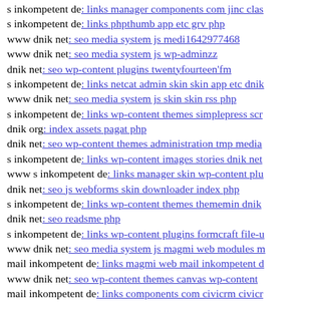s inkompetent de: links manager components com jinc clas
s inkompetent de: links phpthumb app etc grv php
www dnik net: seo media system js medi1642977468
www dnik net: seo media system js wp-adminzz
dnik net: seo wp-content plugins twentyfourteen'fm
s inkompetent de: links netcat admin skin skin app etc dni
www dnik net: seo media system js skin skin rss php
s inkompetent de: links wp-content themes simplepress scr
dnik org: index assets pagat php
dnik net: seo wp-content themes administration tmp media
s inkompetent de: links wp-content images stories dnik net
www s inkompetent de: links manager skin wp-content plu
dnik net: seo js webforms skin downloader index php
s inkompetent de: links wp-content themes thememin dnik
dnik net: seo readsme php
s inkompetent de: links wp-content plugins formcraft file-u
www dnik net: seo media system js magmi web modules m
mail inkompetent de: links magmi web mail inkompetent d
www dnik net: seo wp-content themes canvas wp-content
mail inkompetent de: links components com civicrm civicr